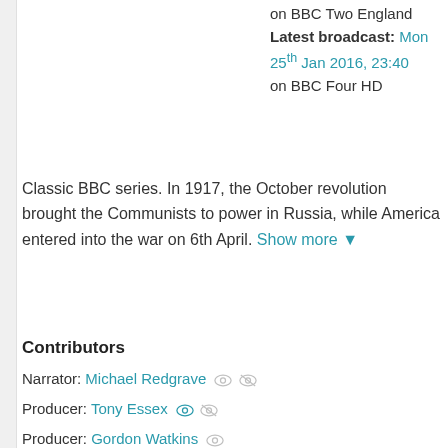on BBC Two England
Latest broadcast: Mon 25th Jan 2016, 23:40 on BBC Four HD
Classic BBC series. In 1917, the October revolution brought the Communists to power in Russia, while America entered into the war on 6th April. Show more
Contributors
Narrator: Michael Redgrave
Producer: Tony Essex
Producer: Gordon Watkins
Writer: Alistair Horne
Genres
Factual / History
Formats